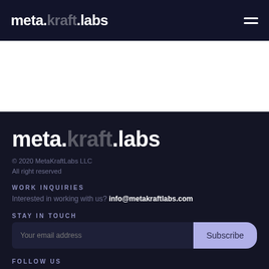meta.kraft.labs
[Figure (logo): meta.kraft.labs logo in footer area — large white serif/sans text with 'kraft' in muted gray]
© 2020 MetaKraftLabs LLC
All right reserved
WORK INQUIRIES
Interested in working with us? info@metakraftlabs.com
STAY IN TOUCH
Your email address
Subscribe
FOLLOW US